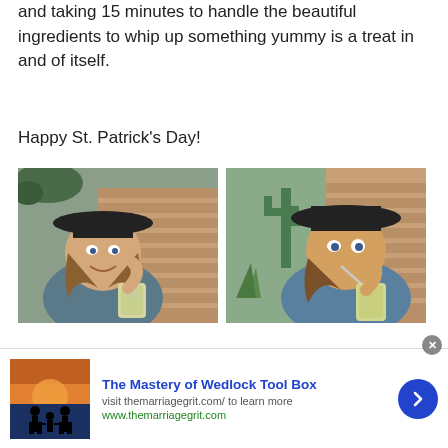and taking 15 minutes to handle the beautiful ingredients to whip up something yummy is a treat in and of itself.
Happy St. Patrick's Day!
[Figure (photo): Woman wearing a wide-brim black hat, smiling and holding a green smoothie with a straw, outdoor brick wall background]
[Figure (photo): Woman wearing a wide-brim black hat, drinking from a straw in a green smoothie, cactus visible in background]
[Figure (infographic): Advertisement banner: The Mastery of Wedlock Tool Box, visit themarriagegrit.com to learn more, www.themarriagegrit.com, with silhouette family photo and blue arrow button]